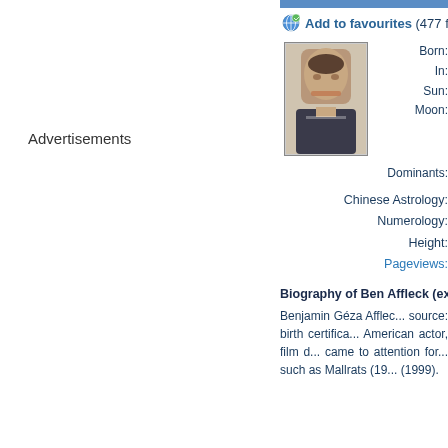Advertisements
Add to favourites (477 fa...
[Figure (photo): Portrait photo of Ben Affleck in a suit and tie]
Born:
In:
Sun:
Moon:
Dominants:
Chinese Astrology:
Numerology:
Height:
Pageviews:
Biography of Ben Affleck (exc... Benjamin Géza Afflec... source: birth certifica... American actor, film d... came to attention for... such as Mallrats (19... (1999).